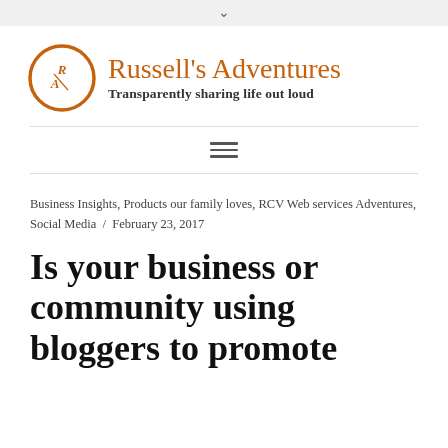∨
[Figure (logo): Russell's Adventures blog logo with orange circular RA monogram icon and text 'Russell's Adventures — Transparently sharing life out loud']
Business Insights, Products our family loves, RCV Web services Adventures, Social Media / February 23, 2017
Is your business or community using bloggers to promote